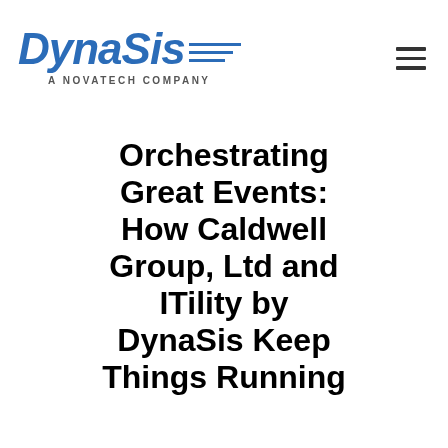DynaSis — A Novatech Company
Orchestrating Great Events: How Caldwell Group, Ltd and ITility by DynaSis Keep Things Running